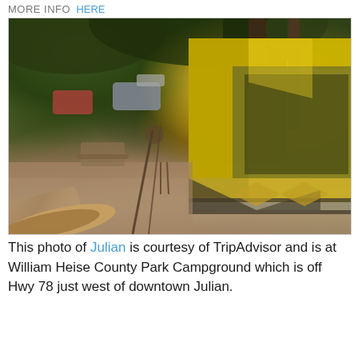more info   HERE
[Figure (photo): A yellow camping tent set up at William Heise County Park Campground near Julian, CA, with trees providing shade, gravel ground, logs in foreground, and parked cars visible in background.]
This photo of Julian is courtesy of TripAdvisor and is at William Heise County Park Campground which is off Hwy 78 just west of downtown Julian.